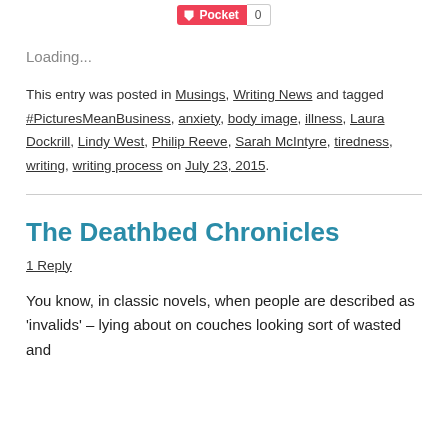[Figure (other): Pocket save button with count badge showing 0]
Loading...
This entry was posted in Musings, Writing News and tagged #PicturesMeanBusiness, anxiety, body image, illness, Laura Dockrill, Lindy West, Philip Reeve, Sarah McIntyre, tiredness, writing, writing process on July 23, 2015.
The Deathbed Chronicles
1 Reply
You know, in classic novels, when people are described as 'invalids' – lying about on couches looking sort of wasted and